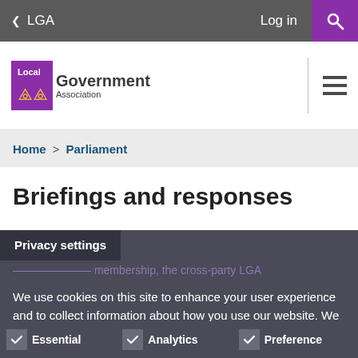< LGA   Log in  [Search]
[Figure (logo): Local Government Association logo with purple lion icon]
Home > Parliament
Briefings and responses
Privacy settings
membership, the cross-party LGA
We use cookies on this site to enhance your user experience and to collect information about how you use our website. We use this information to make the website work as well as possible and to improve our content. More information
Essential   Analytics   Preference